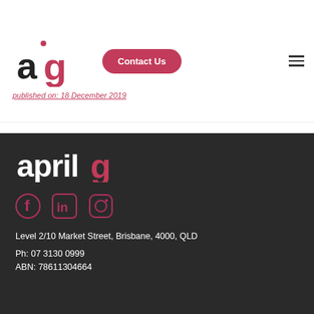[Figure (logo): April9 logo — stylized A and lowercase g in red/dark]
Contact Us
published on: 18 December 2019
[Figure (logo): April9 footer logo in white text on dark background]
[Figure (illustration): Social media icons: Facebook, LinkedIn, Instagram — all in dark red/crimson]
Level 2/10 Market Street, Brisbane, 4000, QLD
Ph: 07 3130 0999
ABN: 78611304664